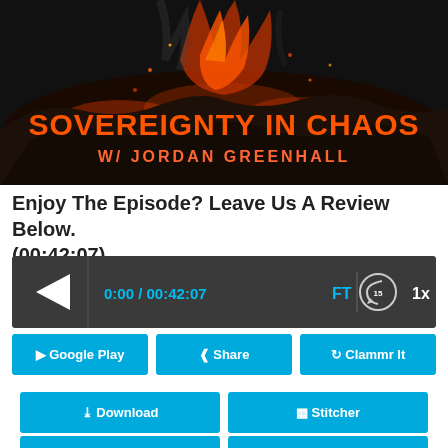[Figure (screenshot): Podcast cover art for 'Sovereignty in Chaos w/ Jordan Greenhall' showing a dark rocky volcanic background with orange flames and the title text in orange.]
Enjoy The Episode? Leave Us A Review Below. (00:42:07)
[Figure (screenshot): Audio player bar showing play button, time 0:00 / 00:42:07, FT label, rewind 15s button, and 1x speed button on dark background.]
Google Play
Share
Clammr It
Download
Stitcher